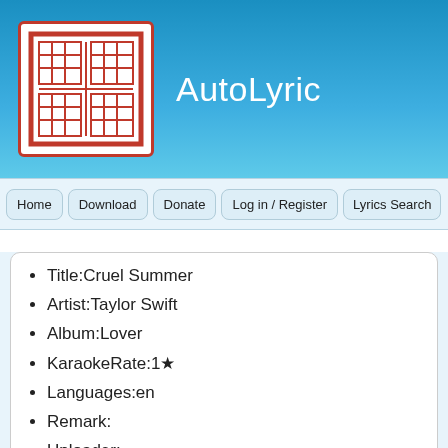AutoLyric
Home
Download
Donate
Log in / Register
Lyrics Search
Title:Cruel Summer
Artist:Taylor Swift
Album:Lover
KaraokeRate:1★
Languages:en
Remark:
Uploader: